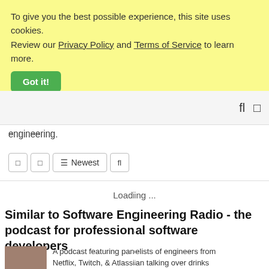To give you the best possible experience, this site uses cookies. Review our Privacy Policy and Terms of Service to learn more.
Got it!
engineering.
Newest
Loading ...
Similar to Software Engineering Radio - the podcast for professional software developers
A podcast featuring panelists of engineers from Netflix, Twitch, & Atlassian talking over drinks